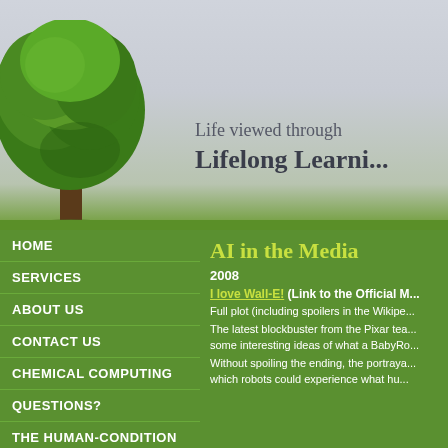[Figure (photo): A large green tree on a grassy hill against a light grey sky, website header image]
Life viewed through
Lifelong Learni...
AI in the Media
2008
I love Wall-E! (Link to the Official M...
Full plot (including spoilers in the Wikipe...
The latest blockbuster from the Pixar tea... some interesting ideas of what a BabyRo...
Without spoiling the ending, the portraya... which robots could experience what hu...
HOME
SERVICES
ABOUT US
CONTACT US
CHEMICAL COMPUTING
QUESTIONS?
THE HUMAN-CONDITION